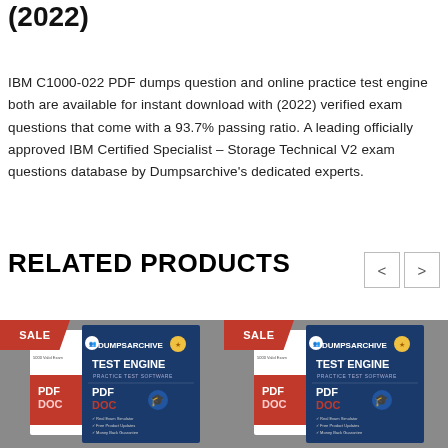(2022)
IBM C1000-022 PDF dumps question and online practice test engine both are available for instant download with (2022) verified exam questions that come with a 93.7% passing ratio. A leading officially approved IBM Certified Specialist – Storage Technical V2 exam questions database by Dumpsarchive's dedicated experts.
RELATED PRODUCTS
[Figure (photo): DumpsArchive product box showing PDF and Test Engine with SALE badge - left product]
[Figure (photo): DumpsArchive product box showing PDF and Test Engine with SALE badge - right product]